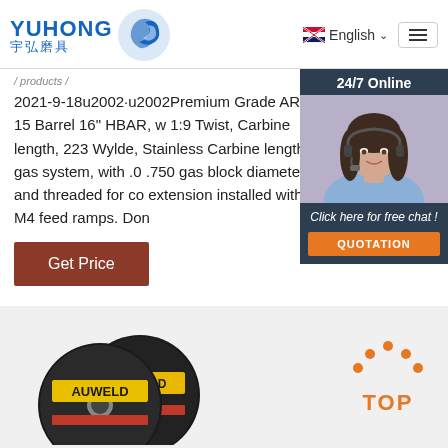[Figure (logo): YUHONG logo with Chinese characters 宇弘磨具 and blue wave icon]
English
2021-9-18u2002·u2002Premium Grade AR-15 Barrel 16" HBAR, w 1:9 Twist, Carbine length, 223 Wylde, Stainless Carbine length gas system, with .0 .750 gas block diameter, and threaded for co extension installed with M4 feed ramps. Don
[Figure (photo): 24/7 Online chat widget with customer service representative photo, 'Click here for free chat!' text and QUOTATION button]
[Figure (other): Get Price button in dark red/brown color]
[Figure (photo): AUWELD grinding/cutting discs product image]
[Figure (other): TOP navigation button with orange dots]